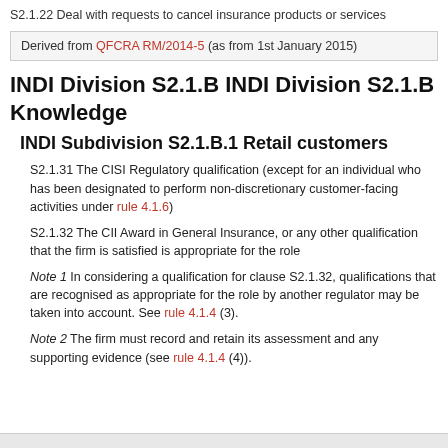S2.1.22 Deal with requests to cancel insurance products or services
Derived from QFCRA RM/2014-5 (as from 1st January 2015)
INDI Division S2.1.B INDI Division S2.1.B Knowledge
INDI Subdivision S2.1.B.1 Retail customers
S2.1.31 The CISI Regulatory qualification (except for an individual who has been designated to perform non-discretionary customer-facing activities under rule 4.1.6)
S2.1.32 The CII Award in General Insurance, or any other qualification that the firm is satisfied is appropriate for the role
Note 1 In considering a qualification for clause S2.1.32, qualifications that are recognised as appropriate for the role by another regulator may be taken into account. See rule 4.1.4 (3).
Note 2 The firm must record and retain its assessment and any supporting evidence (see rule 4.1.4 (4)).